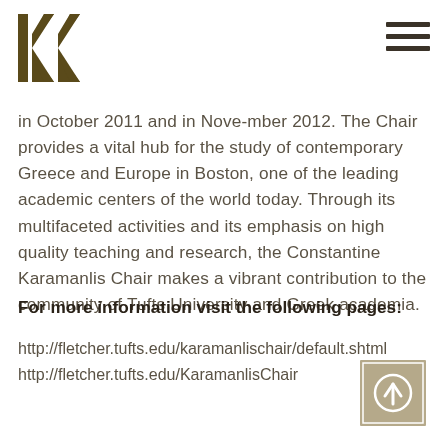KK logo and hamburger menu
in October 2011 and in Nove-mber 2012. The Chair provides a vital hub for the study of contemporary Greece and Europe in Boston, one of the leading academic centers of the world today. Through its multifaceted activities and its emphasis on high quality teaching and research, the Constantine Karamanlis Chair makes a vibrant contribution to the community of Tufts University and Greek academia.
For more information visit the following pages:
http://fletcher.tufts.edu/karamanlischair/default.shtml
http://fletcher.tufts.edu/KaramanlisChair